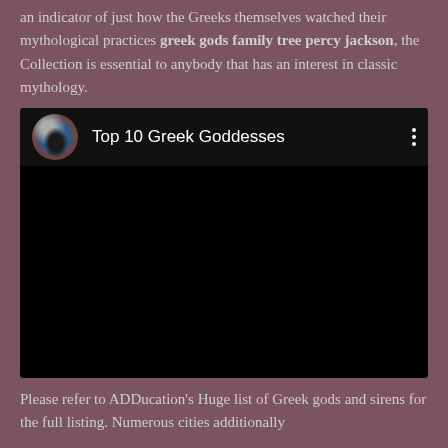an indicator of just how the Greeks themselves watched their mythological practices greek gods family tree percy jackson, the Collection is essential to anybody that has an interest in classic mythology.
[Figure (screenshot): A YouTube-style video embed showing a dark video player. The header shows a circular avatar photo of a person, the title 'Top 10 Greek Goddesses', and a three-dot menu icon. The video area is entirely black.]
Please refer to ADDucation's Huge list of Greek gods and sirens for the full listing. Numerous cities additionally